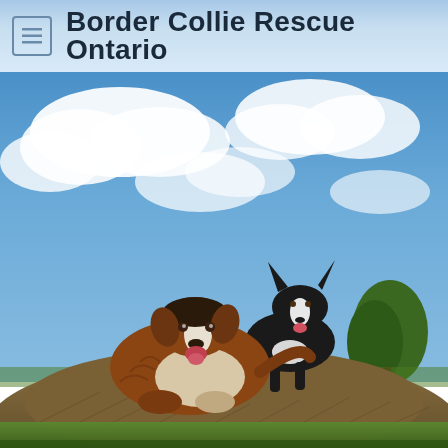Border Collie Rescue Ontario
[Figure (photo): Two border collies on a hay bale against a partly cloudy blue sky. A brown-and-white border collie is in the foreground lying/resting on the hay bale, and a black-and-white border collie stands behind it. Green grass and a tree are visible in the background.]